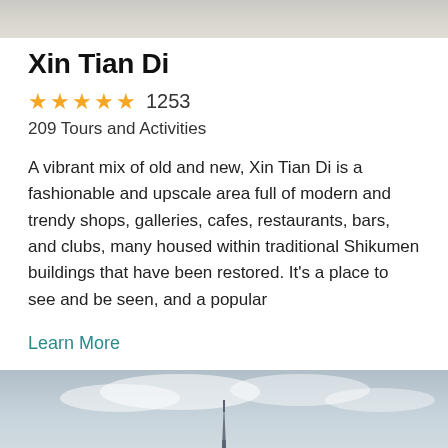[Figure (photo): Top portion of a stone/pavement photo, cropped at the top of the page]
Xin Tian Di
★★★★★ 1253
209 Tours and Activities
A vibrant mix of old and new, Xin Tian Di is a fashionable and upscale area full of modern and trendy shops, galleries, cafes, restaurants, bars, and clubs, many housed within traditional Shikumen buildings that have been restored. It's a place to see and be seen, and a popular
Learn More
[Figure (photo): Bottom portion showing a sky with clouds and a spire/tower silhouette visible at the bottom center]